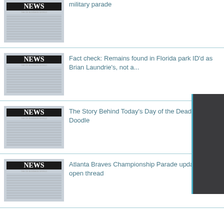[Figure (screenshot): News thumbnail image with newspaper-style NEWS headline]
military parade
[Figure (screenshot): News thumbnail image with newspaper-style NEWS headline]
Fact check: Remains found in Florida park ID'd as Brian Laundrie's, not a...
[Figure (screenshot): News thumbnail image with newspaper-style NEWS headline]
The Story Behind Today's Day of the Dead Google Doodle
[Figure (screenshot): News thumbnail image with newspaper-style NEWS headline]
Atlanta Braves Championship Parade updates and open thread